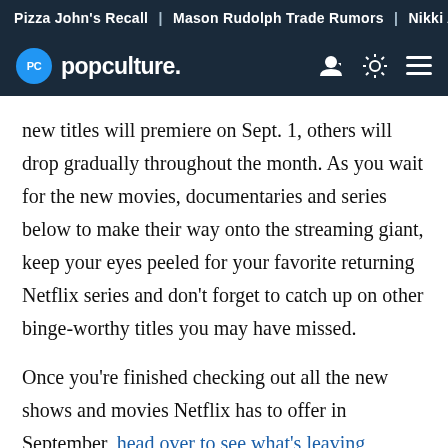Pizza John's Recall | Mason Rudolph Trade Rumors | Nikki A
popculture.
new titles will premiere on Sept. 1, others will drop gradually throughout the month. As you wait for the new movies, documentaries and series below to make their way onto the streaming giant, keep your eyes peeled for your favorite returning Netflix series and don't forget to catch up on other binge-worthy titles you may have missed.
Once you're finished checking out all the new shows and movies Netflix has to offer in September, head over to see what's leaving Netflix that same month. With the streaming wars in full effect, you never know what classic Netflix